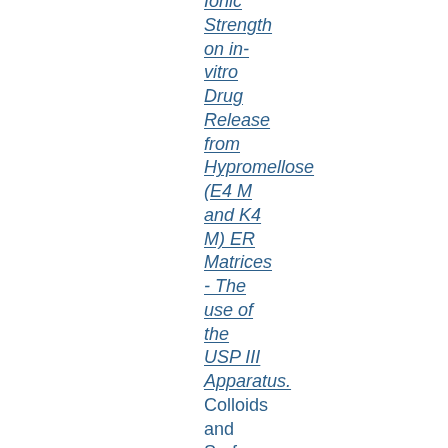Ionic Strength on in-vitro Drug Release from Hypromellose (E4 M and K4 M) ER Matrices - The use of the USP III Apparatus. Colloids and Surfaces B: